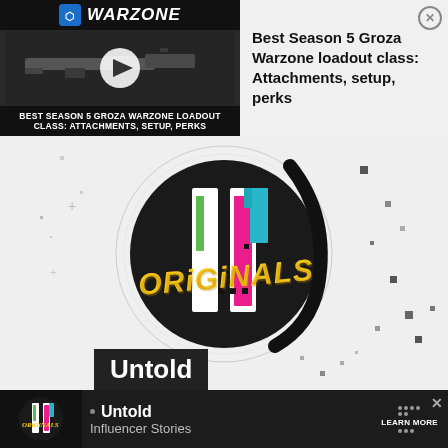[Figure (screenshot): Call of Duty Warzone advertisement banner showing a gun thumbnail with play button, Warzone logo, and text 'Best Season 5 Groza Warzone loadout class: Attachments, setup, perks'. Bottom of left panel reads: BEST SEASON 5 GROZA WARZONE LOADOUT CLASS: ATTACHMENTS, SETUP, PERKS]
[Figure (logo): TikTok Originals logo: a stylized TikTok logo with colorful bars (pink, teal, green) inside a black circle with geometric grid lines and the word 'ORIGINALS' in yellow graffiti-style text overlaid.]
Untold
[Figure (screenshot): Bottom advertisement bar showing TikTok Originals logo on left, 'Untold' title with bullet point, 'Influencer Stories' subtitle, and 'LEARN MORE' button with dot grid pattern on right. Close X button in top right corner.]